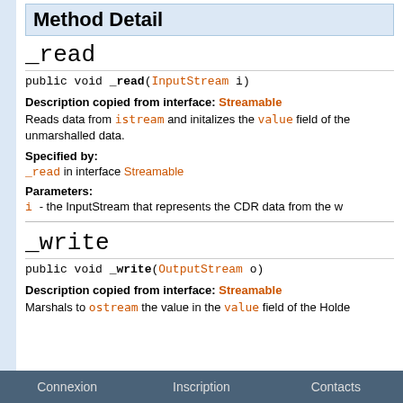Method Detail
_read
public void _read(InputStream i)
Description copied from interface: Streamable
Reads data from istream and initalizes the value field of the unmarshalled data.
Specified by:
_read in interface Streamable
Parameters:
i - the InputStream that represents the CDR data from the w
_write
public void _write(OutputStream o)
Description copied from interface: Streamable
Marshals to ostream the value in the value field of the Holde
Connexion   Inscription   Contacts